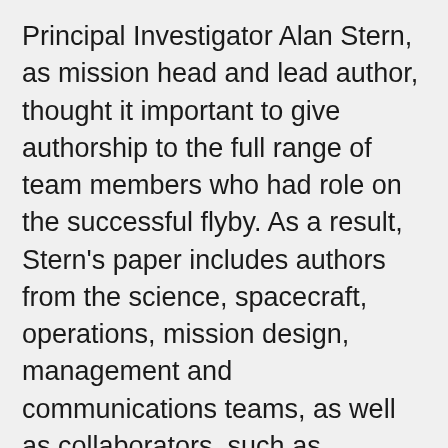Principal Investigator Alan Stern, as mission head and lead author, thought it important to give authorship to the full range of team members who had role on the successful flyby. As a result, Stern's paper includes authors from the science, spacecraft, operations, mission design, management and communications teams, as well as collaborators, such as contributing scientist and stereo imaging specialist (and legendary Queen guitarist) Brian May, NASA Planetary Division Director Lori Glaze, NASA Chief Scientist Jim Green, and NASA Associate Administrator for the Science Mission Directorate Thomas Zurbuchen. Credit: AAAS/Science